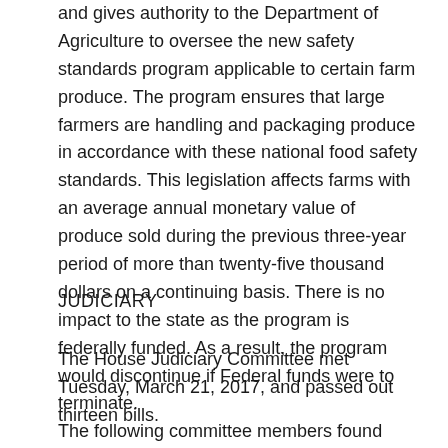and gives authority to the Department of Agriculture to oversee the new safety standards program applicable to certain farm produce. The program ensures that large farmers are handling and packaging produce in accordance with these national food safety standards. This legislation affects farms with an average annual monetary value of produce sold during the previous three-year period of more than twenty-five thousand dollars on a continuing basis. There is no impact to the state as the program is federally funded. As a result, the program would discontinue if Federal funds were to terminate.
JUDICIARY
The House Judiciary Committee met Tuesday, March 21, 2017, and passed out thirteen bills.
The following committee members found bills consistent with the